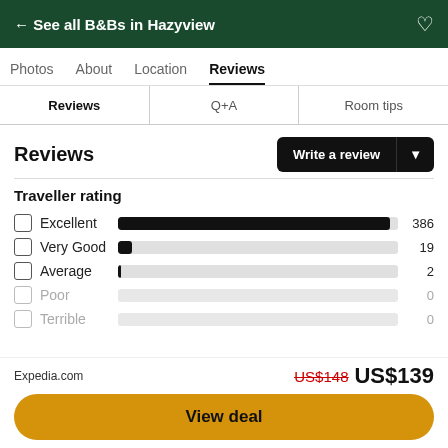← See all B&Bs in Hazyview
Photos   About   Location   Reviews
Reviews   Q+A   Room tips
Reviews
[Figure (bar-chart): Traveller rating]
Expedia.com   US$148  US$139
View deal